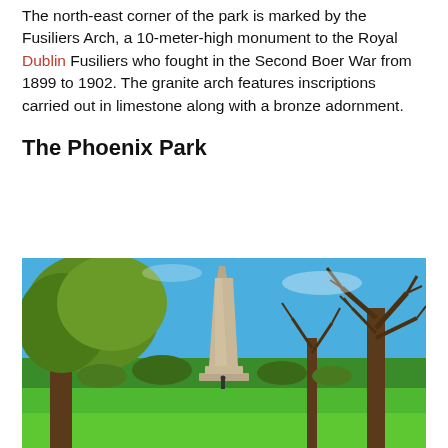The north-east corner of the park is marked by the Fusiliers Arch, a 10-meter-high monument to the Royal Dublin Fusiliers who fought in the Second Boer War from 1899 to 1902. The granite arch features inscriptions carried out in limestone along with a bronze adornment.
The Phoenix Park
[Figure (photo): Outdoor photo of Phoenix Park in Dublin showing a tall obelisk monument in the center background, flanked by large trees (leafy green on the left, bare branches on the right), under a bright blue sky. Green grass lawn in the foreground with a small figure of a person visible near the base of the monument.]